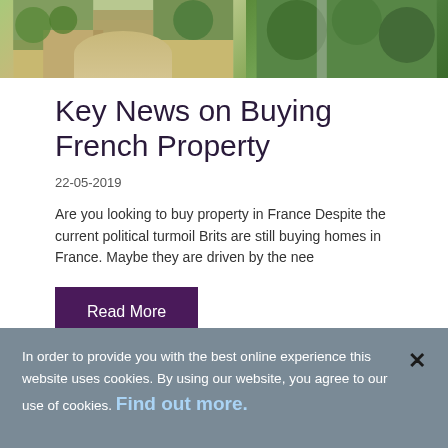[Figure (photo): Two photos side by side of a French property — left shows a gravel driveway with garden furniture and a stone house, right shows green hedges and foliage.]
Key News on Buying French Property
22-05-2019
Are you looking to buy property in France Despite the current political turmoil Brits are still buying homes in France. Maybe they are driven by the nee
Read More
In order to provide you with the best online experience this website uses cookies. By using our website, you agree to our use of cookies. Find out more. ×